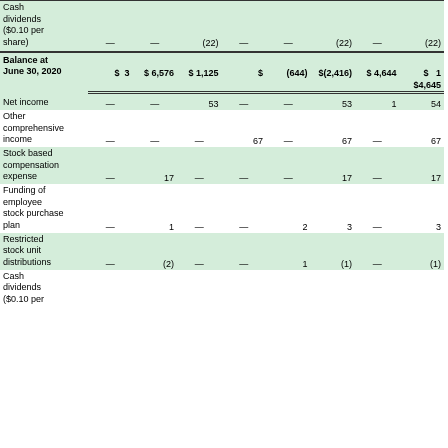|  | Common Stock | Additional Paid-in Capital | Retained Earnings | Accumulated Other Comprehensive Income (Loss) | Treasury Stock | Total Company Equity | Noncontrolling Interest | Total Equity |
| --- | --- | --- | --- | --- | --- | --- | --- | --- |
| Cash dividends ($0.10 per share) | — | — | (22) | — | — | (22) | — | (22) |
| Balance at June 30, 2020 | $ 3 | $ 6,576 | $ 1,125 | $ | (644) | $(2,416) | $ 4,644 | $ 1 | $4,645 |
| Net income | — | — | 53 | — | — | 53 | 1 | 54 |
| Other comprehensive income | — | — | — | 67 | — | 67 | — | 67 |
| Stock based compensation expense | — | 17 | — | — | — | 17 | — | 17 |
| Funding of employee stock purchase plan | — | 1 | — | — | 2 | 3 | — | 3 |
| Restricted stock unit distributions | — | (2) | — | — | 1 | (1) | — | (1) |
| Cash dividends ($0.10 per |  |  |  |  |  |  |  |  |